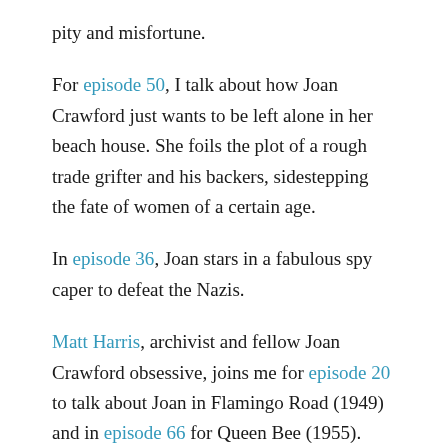pity and misfortune.
For episode 50, I talk about how Joan Crawford just wants to be left alone in her beach house. She foils the plot of a rough trade grifter and his backers, sidestepping the fate of women of a certain age.
In episode 36, Joan stars in a fabulous spy caper to defeat the Nazis.
Matt Harris, archivist and fellow Joan Crawford obsessive, joins me for episode 20 to talk about Joan in Flamingo Road (1949) and in episode 66 for Queen Bee (1955).
In episode 77, I admire the way Adrian develops his signature metallic look for Joan Crawford in No More